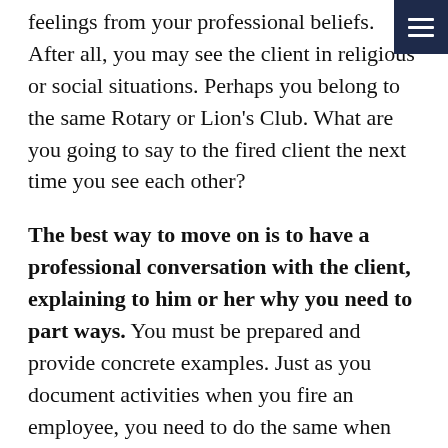feelings from your professional beliefs. After all, you may see the client in religious or social situations. Perhaps you belong to the same Rotary or Lion's Club. What are you going to say to the fired client the next time you see each other?
The best way to move on is to have a professional conversation with the client, explaining to him or her why you need to part ways. You must be prepared and provide concrete examples. Just as you document activities when you fire an employee, you need to do the same when you fire a client.
Explain the Problem in Plain Terms
Be reasonable and explain in plain terms what the